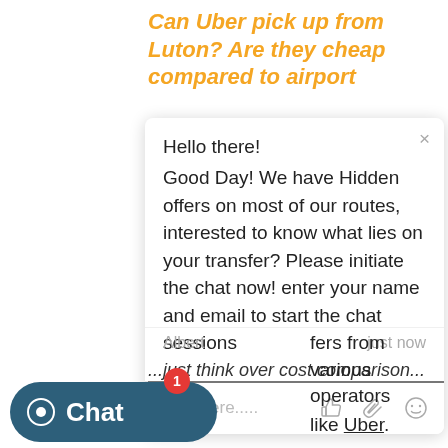Can Uber pick up from Luton? Are they cheap compared to airport
[Figure (screenshot): Chat popup window with bot message: Hello there! Good Day! We have Hidden offers on most of our routes, interested to know what lies on your transfer? Please initiate the chat now! enter your name and email to start the chat sessions. Agent name Albert, just now. Text input field with icons.]
...just think over cost comparison...
fers from various operators
like Uber.
[Figure (screenshot): Chat widget button with chat icon and label 'Chat' with badge showing 1 notification]